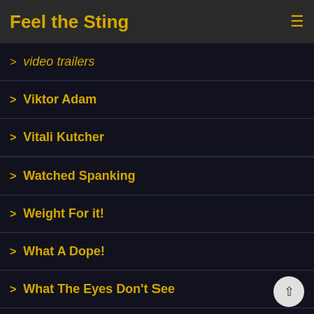Feel the Sting
> video trailers
> Viktor Adam
> Vitali Kutcher
> Watched Spanking
> Weight For it!
> What A Dope!
> What The Eyes Don't See
> Wheals of Misfortune
> wheelbarrow spanking
> whip
> whipping
> Will